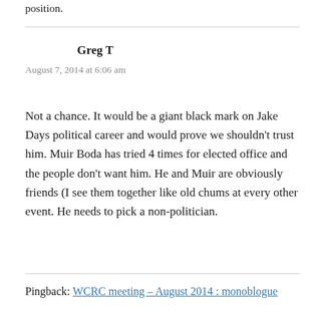position.
Greg T
August 7, 2014 at 6:06 am
Not a chance. It would be a giant black mark on Jake Days political career and would prove we shouldn't trust him. Muir Boda has tried 4 times for elected office and the people don't want him. He and Muir are obviously friends (I see them together like old chums at every other event. He needs to pick a non-politician.
Pingback: WCRC meeting – August 2014 : monoblogue